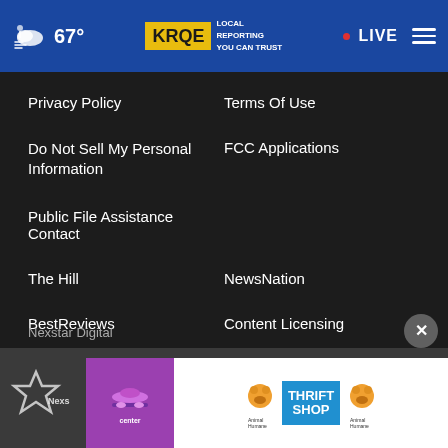67° KRQE LOCAL REPORTING YOU CAN TRUST • LIVE
Privacy Policy
Terms Of Use
Do Not Sell My Personal Information
FCC Applications
Public File Assistance Contact
The Hill
NewsNation
BestReviews
Content Licensing
Nexstar Digital
[Figure (logo): Nexstar star logo at bottom left]
[Figure (infographic): Advertisement banner: Center purple logo, Animal Humane / Thrift Shop ad]